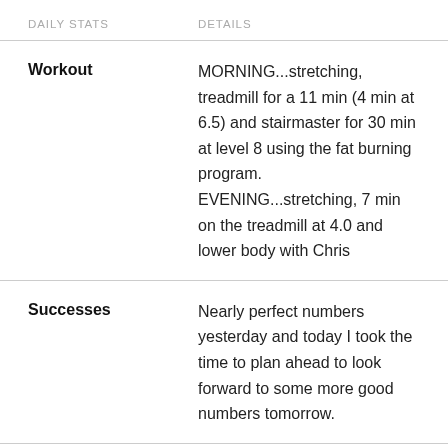DAILY STATS   DETAILS
Workout: MORNING...stretching, treadmill for a 11 min (4 min at 6.5) and stairmaster for 30 min at level 8 using the fat burning program. EVENING...stretching, 7 min on the treadmill at 4.0 and lower body with Chris
Successes: Nearly perfect numbers yesterday and today I took the time to plan ahead to look forward to some more good numbers tomorrow.
Opportunities: You know what? I'm gonna enjoy a